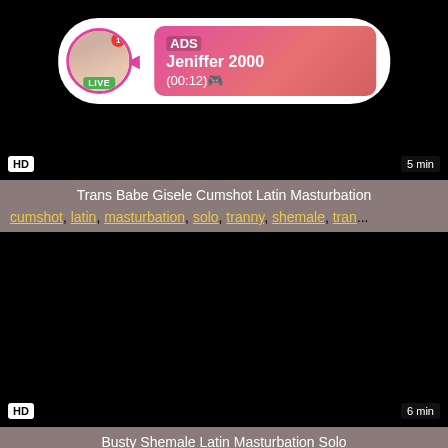[Figure (screenshot): Video thumbnail with black background showing HD badge and 5 min duration, with an ad overlay showing a woman's photo, LIVE badge, ADS label, name Jeniffer 2000, and timestamp (00:12)]
Trans Babe Gisele Cumshot Latin Masturbation
cumshot, latin, masturbation, solo, tranny, shemale, tran...
[Figure (screenshot): Black video thumbnail with HD badge bottom-left and 6 min duration bottom-right]
Busty Shemale Latin Masturbation Solo